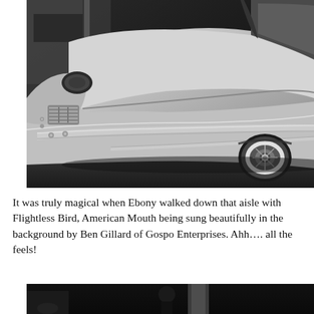[Figure (photo): Black and white photograph of a classic vintage car, showing the front hood, chrome bumper, and front wheel. The car appears to be a 1950s-era American automobile with smooth curves and chrome details, photographed against a dark background.]
It was truly magical when Ebony walked down that aisle with Flightless Bird, American Mouth being sung beautifully in the background by Ben Gillard of Gospo Enterprises. Ahh…. all the feels!
[Figure (photo): Black and white photograph, partially visible at bottom of page, appears to show a dark scene with some figures.]